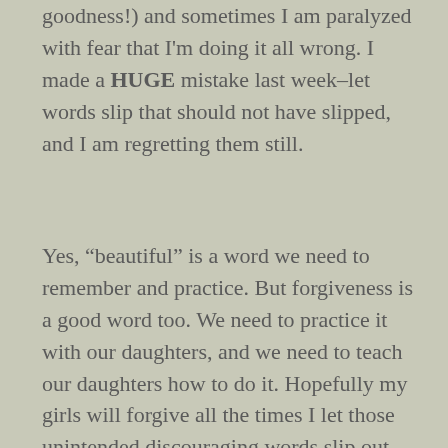goodness!) and sometimes I am paralyzed with fear that I'm doing it all wrong. I made a HUGE mistake last week–let words slip that should not have slipped, and I am regretting them still.
Yes, “beautiful” is a word we need to remember and practice. But forgiveness is a good word too. We need to practice it with our daughters, and we need to teach our daughters how to do it. Hopefully my girls will forgive all the times I let those unintended discouraging words slip out.